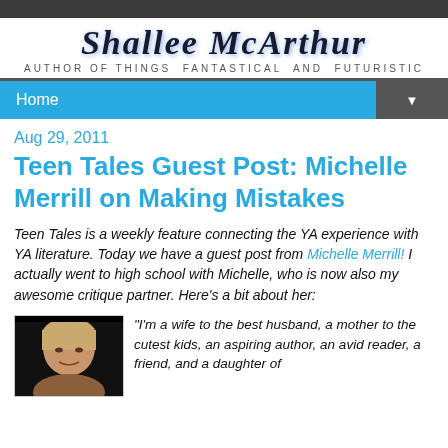SHALLEE MCARTHUR — AUTHOR OF THINGS fantastical AND FUTURISTIC
Home
Aug 29, 2011
Teen Tales Guest Post: Michelle Merrill on Making Mistakes
Teen Tales is a weekly feature connecting the YA experience with YA literature. Today we have a guest post from Michelle Merrill! I actually went to high school with Michelle, who is now also my awesome critique partner. Here's a bit about her:
[Figure (photo): Photo of Michelle Merrill, showing a woman with light hair against a dark background]
"I'm a wife to the best husband, a mother to the cutest kids, an aspiring author, an avid reader, a friend, and a daughter of